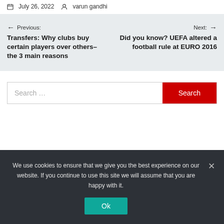July 26, 2022  varun gandhi
← Previous: Transfers: Why clubs buy certain players over others–the 3 main reasons   Next: → Did you know? UEFA altered a football rule at EURO 2016
Search ...
We use cookies to ensure that we give you the best experience on our website. If you continue to use this site we will assume that you are happy with it.